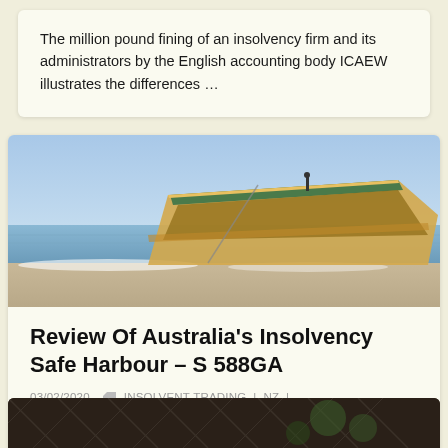The million pound fining of an insolvency firm and its administrators by the English accounting body ICAEW illustrates the differences …
[Figure (photo): A wooden boat on a beach with sky and water in the background]
Review Of Australia's Insolvency Safe Harbour – S 588GA
03/02/2020   INSOLVENT TRADING | NZ | SAFE HARBOUR | GENERAL
Australia's 'safe harbour' regime under s 588GA is due for review, since September 2019, as to whether it offers the …
[Figure (photo): Partial view of a dark geometric patterned surface, bottom of page]